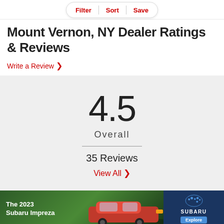Filter | Sort | Save
Mount Vernon, NY Dealer Ratings & Reviews
Write a Review
4.5
Overall
35 Reviews
View All